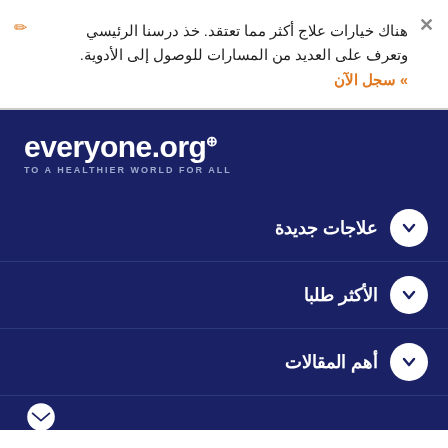هناك خيارات علاج أكثر مما تعتقد. خذ درسنا الرئيسي وتعرف على العديد من المسارات للوصول إلى الأدوية.
» سجل الآن
[Figure (logo): everyone.org logo with tagline TO A HEALTHIER WORLD FOR ALL on dark blue background]
علاجات جديدة
الأكثر طلبا
أهم المقالات